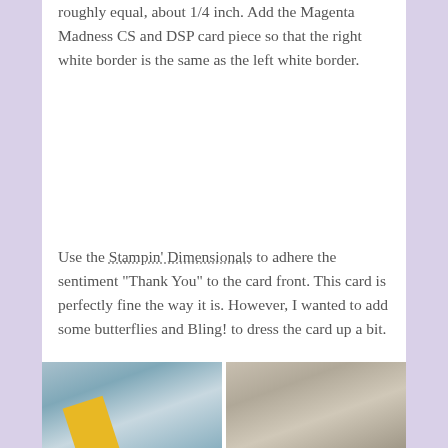roughly equal, about 1/4 inch. Add the Magenta Madness CS and DSP card piece so that the right white border is the same as the left white border.
Use the Stampin' Dimensionals to adhere the sentiment “Thank You” to the card front. This card is perfectly fine the way it is. However, I wanted to add some butterflies and Bling! to dress the card up a bit.
[Figure (photo): Photo on left showing a card craft project with blue/grey wood-look background and a yellow diamond/square shape visible at bottom]
[Figure (photo): Photo on right showing a distressed/rustic wood-look background in tan and grey tones]